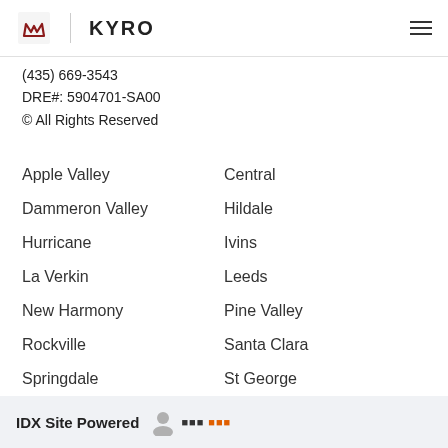KYRO
(435) 669-3543
DRE#: 5904701-SA00
© All Rights Reserved
Apple Valley
Central
Dammeron Valley
Hildale
Hurricane
Ivins
La Verkin
Leeds
New Harmony
Pine Valley
Rockville
Santa Clara
Springdale
St George
Toquerville
Veyo
Virgin
Washington
IDX Site Powered